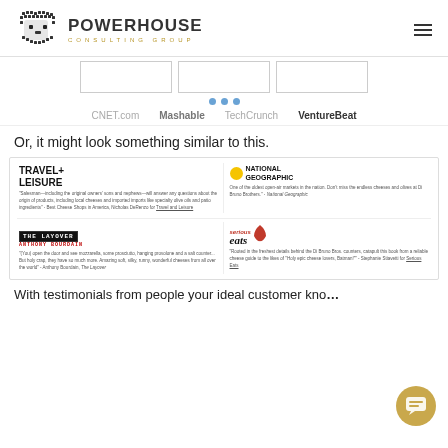[Figure (logo): Powerhouse Consulting Group logo with lion icon]
[Figure (screenshot): Media logos bar with placeholder boxes, navigation dots, and media name logos: CNET.com, Mashable, TechCrunch, VentureBeat]
Or, it might look something similar to this.
[Figure (screenshot): Press panel showing Travel+Leisure, National Geographic, The Layover, and Serious Eats logos with testimonial quotes]
With testimonials from people your ideal customer kno...